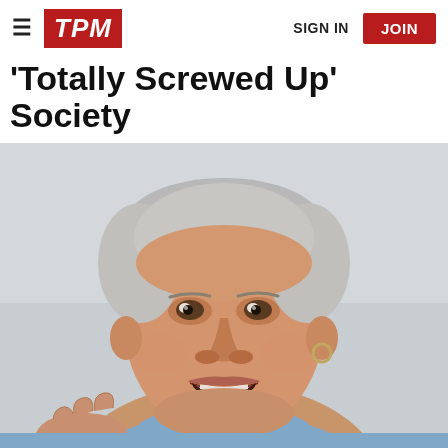≡ TPM  SIGN IN  JOIN
'Totally Screwed Up' Society
[Figure (photo): Middle-aged heavyset man with gray hair speaking passionately, wearing a light blue polo shirt, photographed from chest up against a light gray background]